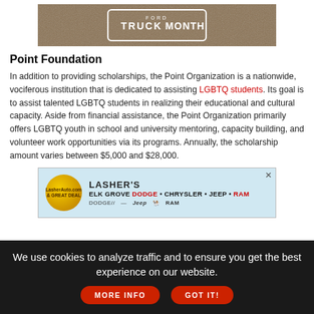[Figure (photo): Sandy/dirt textured background with 'Ford Truck Month' badge/logo in white]
Point Foundation
In addition to providing scholarships, the Point Organization is a nationwide, vociferous institution that is dedicated to assisting LGBTQ students. Its goal is to assist talented LGBTQ students in realizing their educational and cultural capacity. Aside from financial assistance, the Point Organization primarily offers LGBTQ youth in school and university mentoring, capacity building, and volunteer work opportunities via its programs. Annually, the scholarship amount varies between $5,000 and $28,000.
[Figure (advertisement): Lasher's Elk Grove Dodge Chrysler Jeep Ram dealership advertisement with blue background and yellow circular logo]
We use cookies to analyze traffic and to ensure you get the best experience on our website. MORE INFO   GOT IT!